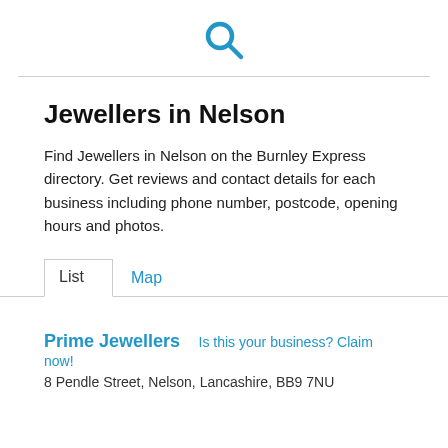[Figure (other): Blue search/magnifying glass icon]
Jewellers in Nelson
Find Jewellers in Nelson on the Burnley Express directory. Get reviews and contact details for each business including phone number, postcode, opening hours and photos.
List   Map
Prime Jewellers   Is this your business? Claim now!
8 Pendle Street, Nelson, Lancashire, BB9 7NU